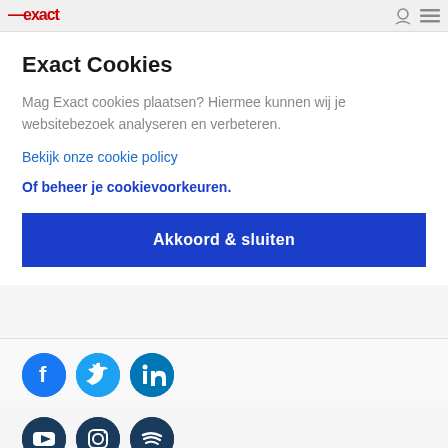exact
Exact Cookies
Mag Exact cookies plaatsen? Hiermee kunnen wij je websitebezoek analyseren en verbeteren.
Bekijk onze cookie policy
Of beheer je cookievoorkeuren.
Akkoord & sluiten
[Figure (illustration): Social media icons row 1: Facebook, Twitter, LinkedIn on blue circular backgrounds]
[Figure (illustration): Social media icons row 2: YouTube, Instagram, Spotify on dark navy circular backgrounds]